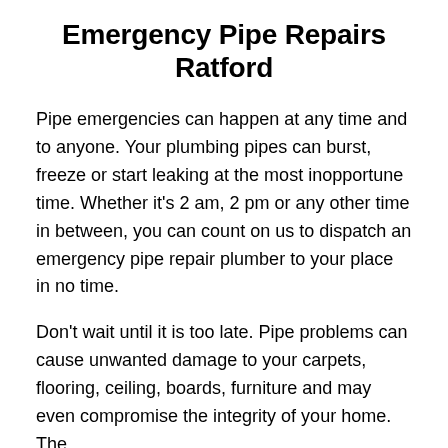Emergency Pipe Repairs Ratford
Pipe emergencies can happen at any time and to anyone. Your plumbing pipes can burst, freeze or start leaking at the most inopportune time. Whether it's 2 am, 2 pm or any other time in between, you can count on us to dispatch an emergency pipe repair plumber to your place in no time.
Don't wait until it is too late. Pipe problems can cause unwanted damage to your carpets, flooring, ceiling, boards, furniture and may even compromise the integrity of your home. The